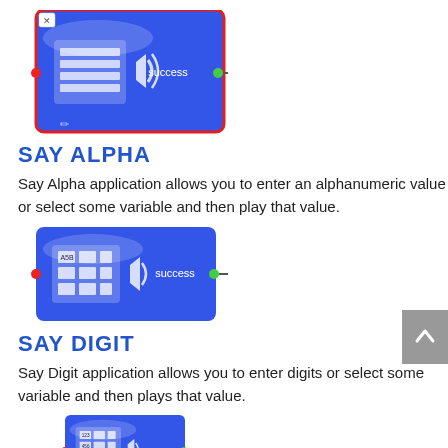[Figure (screenshot): Blue workflow node with red border, showing a table/spreadsheet icon on the left, 'success' label with green output connector on the right, and a red input connector on the left. Has an X button at top-left.]
SAY ALPHA
Say Alpha application allows you to enter an alphanumeric value or select some variable and then play that value.
[Figure (screenshot): Blue workflow node showing alphanumeric keyboard icon (A5B, 0W6, 12g) on the left, 'success' label with green output connector on the right, and a red input connector on the left.]
SAY DIGIT
Say Digit application allows you to enter digits or select some variable and then plays that value.
[Figure (screenshot): Blue workflow node showing numeric keypad icon (123, 456, 78) on the left, 'success' label with green output connector on the right, and a red input connector on the left. Partially cropped at bottom.]